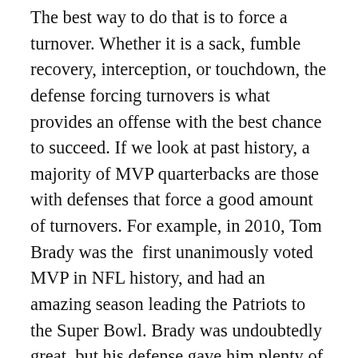The best way to do that is to force a turnover. Whether it is a sack, fumble recovery, interception, or touchdown, the defense forcing turnovers is what provides an offense with the best chance to succeed. If we look at past history, a majority of MVP quarterbacks are those with defenses that force a good amount of turnovers. For example, in 2010, Tom Brady was the first unanimously voted MVP in NFL history, and had an amazing season leading the Patriots to the Super Bowl. Brady was undoubtedly great, but his defense gave him plenty of opportunities, as the 2010 New England Patriots were second in turnovers on defense that year. The 2010 New England Patriots had many great defensive players on that team, however as with most great defenses, the defensive got a significant boost from their best player that season. That year, Devin McCourty, a defensive back, on his own